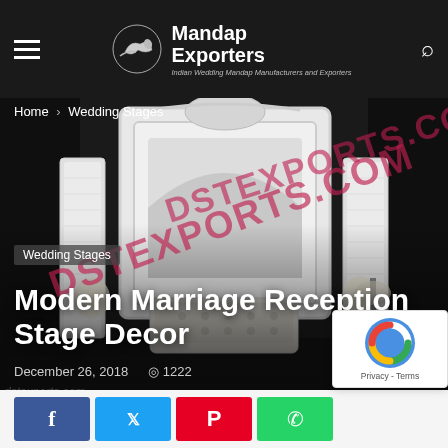Mandap Exporters — Indian Wedding Mandap Manufacturers and Exporters
Home › Wedding Stages
[Figure (photo): A decorated modern marriage reception stage with white ornate frame backdrop, tufted sofa/throne, floral columns on either side, and DSTEXPORTS.COM watermark overlaid diagonally.]
Wedding Stages
Modern Marriage Reception Stage Decor
December 26, 2018   👁 1222
dstexports.com
Facebook, Twitter, Pinterest, WhatsApp share buttons